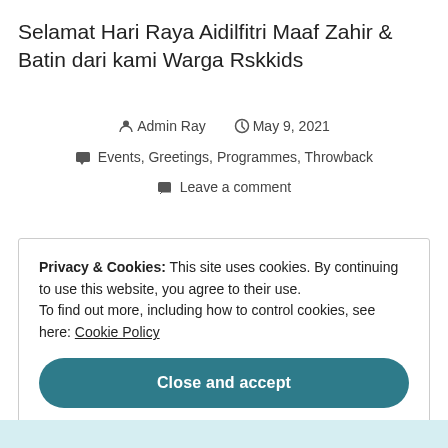Selamat Hari Raya Aidilfitri Maaf Zahir & Batin dari kami Warga Rskkids
Admin Ray   May 9, 2021
Events, Greetings, Programmes, Throwback
Leave a comment
Privacy & Cookies: This site uses cookies. By continuing to use this website, you agree to their use. To find out more, including how to control cookies, see here: Cookie Policy
Close and accept